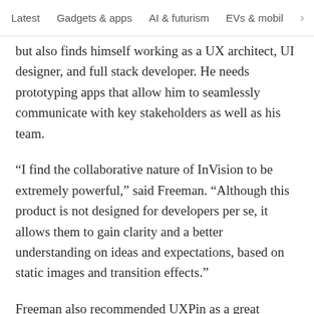Latest   Gadgets & apps   AI & futurism   EVs & mobil  >
but also finds himself working as a UX architect, UI designer, and full stack developer. He needs prototyping apps that allow him to seamlessly communicate with key stakeholders as well as his team.
“I find the collaborative nature of InVision to be extremely powerful,” said Freeman. “Although this product is not designed for developers per se, it allows them to gain clarity and a better understanding on ideas and expectations, based on static images and transition effects.”
Freeman also recommended UXPin as a great product for low-medium fidelity prototyping, which works well for proof of concept and usability testing